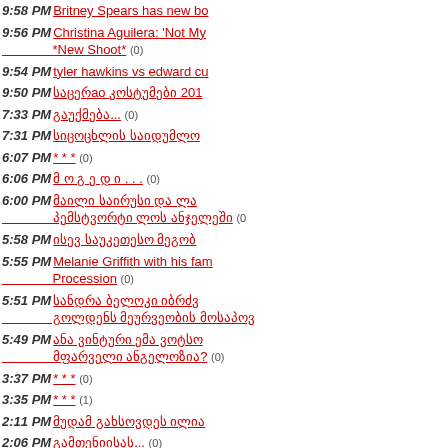9:58 PM Britney Spears has new bo
9:56 PM Christina Aguilera: 'Not My *New Shoot* (0)
9:54 PM tyler hawkins vs edward cu
9:50 PM საცერao კოსტუმები 201
7:33 PM გაუქმება... (0)
7:31 PM სიცოცხლის საიდუმლო
6:07 PM *** (0)
6:06 PM მ ო გ ე დ ი . . . (0)
6:00 PM მაილი საირუსი და ლა პემსტვორტი ლოს ანჯელეში
5:58 PM ისევ საუკეთესო მეგობ
5:55 PM Melanie Griffith with his family Procession (0)
5:51 PM სანდრა ბელოკი იბრძვ გოლდენს მეურვეობის მოსაპოვ
5:49 PM ანა ვინტური ემა ვოტსო მფარველი ანგელოზია? (0)
3:37 PM *** (0)
3:35 PM *** (1)
2:11 PM მუდამ გახსოვდეს ილია
2:06 PM გამთენიისას... (0)
2:04 PM ფოტოები !! (0)
1:12 PM *** (0)
1:10 PM რა მემართება? რა მემა
1:09 PM you and me - lifehouse (0)
1:08 PM You and Me, A Collection of Pictures